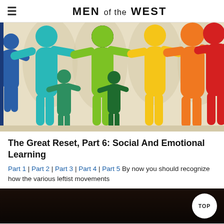MEN OF THE WEST
[Figure (illustration): Colorful paper-cut style illustration of adult and child figures in a chain/group, rendered in teal, green, yellow, orange, and red colors on a beige background, arms outstretched as if holding hands.]
The Great Reset, Part 6: Social And Emotional Learning
Part 1 | Part 2 | Part 3 | Part 4 | Part 5 By now you should recognize how the various leftist movements
[Figure (photo): Dark photograph partially visible at the bottom of the page, with a circular white 'TOP' button overlaid in the bottom right corner.]